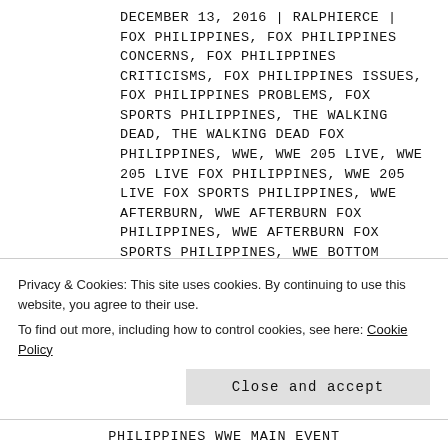DECEMBER 13, 2016 | RALPHIERCE | FOX PHILIPPINES, FOX PHILIPPINES CONCERNS, FOX PHILIPPINES CRITICISMS, FOX PHILIPPINES ISSUES, FOX PHILIPPINES PROBLEMS, FOX SPORTS PHILIPPINES, THE WALKING DEAD, THE WALKING DEAD FOX PHILIPPINES, WWE, WWE 205 LIVE, WWE 205 LIVE FOX PHILIPPINES, WWE 205 LIVE FOX SPORTS PHILIPPINES, WWE AFTERBURN, WWE AFTERBURN FOX PHILIPPINES, WWE AFTERBURN FOX SPORTS PHILIPPINES, WWE BOTTOM LINE, WWE BOTTOM LINE FOX PHILIPPINES, WWE BOTTOM
Privacy & Cookies: This site uses cookies. By continuing to use this website, you agree to their use. To find out more, including how to control cookies, see here: Cookie Policy
Close and accept
PHILIPPINES WWE MAIN EVENT